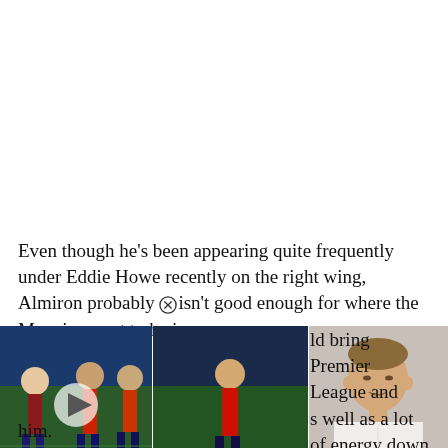Even though he's been appearing quite frequently under Eddie Howe recently on the right wing, Almiron probably isn't good enough for where the Magpies want to be in
[Figure (photo): Left panel: football/soccer players in action on a pitch. Right panel: man in white shirt speaking, appears to be a pundit or analyst.]
ld bring Premier League and s well as a lot of energy down re Marco Silva would utilise him.